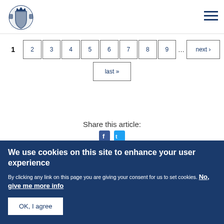UK Government logo and navigation
Pagination: 1 2 3 4 5 6 7 8 9 ... next > last »
Share this article:
We use cookies on this site to enhance your user experience
By clicking any link on this page you are giving your consent for us to set cookies. No, give me more info
OK, I agree